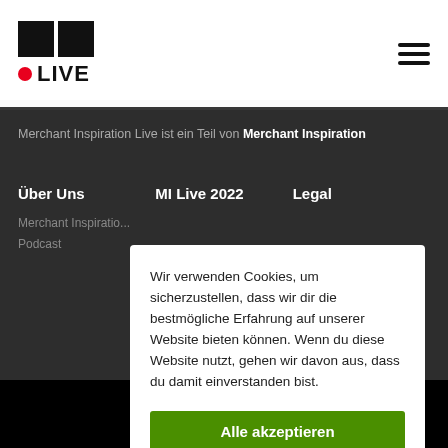[Figure (logo): MI Live logo with two black squares and red dot with LIVE text]
Merchant Inspiration Live ist ein Teil von Merchant Inspiration
Über Uns
MI Live 2022
Legal
Merchant Inspiratio...
Podcast
Wir verwenden Cookies, um sicherzustellen, dass wir dir die bestmögliche Erfahrung auf unserer Website bieten können. Wenn du diese Website nutzt, gehen wir davon aus, dass du damit einverstanden bist.
Alle akzeptieren
Ma...